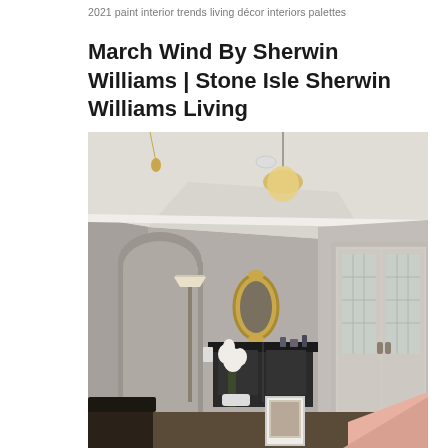2021 paint interior trends living décor interiors palettes
March Wind By Sherwin Williams | Stone Isle Sherwin Williams Living
[Figure (photo): Interior living room with gray walls painted in a warm greige color. Features vaulted ceiling with white crown molding, a pendant light fixture, French double doors with decorative glass panels on the right, an arched doorway on the left, a floor lamp, white orchid plant, black console table with decorative mirror, and a framed photo on the floor. A dark leather chair is visible in the foreground left and a pink blanket on the right.]